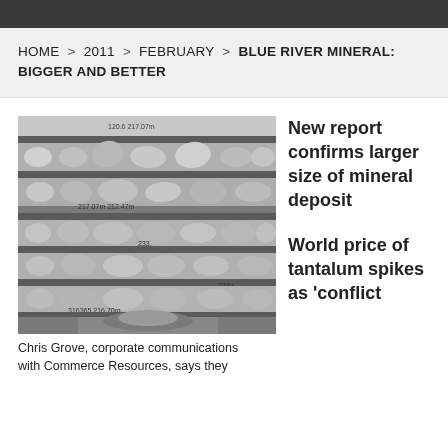HOME > 2011 > FEBRUARY > BLUE RIVER MINERAL: BIGGER AND BETTER
[Figure (photo): Black and white photograph of mineral core samples stored in trays/racks, with a person visible at the bottom]
Chris Grove, corporate communications with Commerce Resources, says they
New report confirms larger size of mineral deposit
World price of tantalum spikes as 'conflict